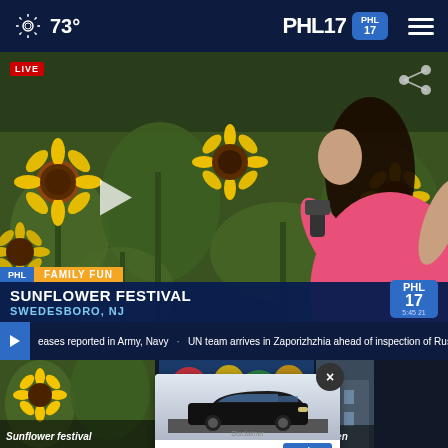73° | PHL17
[Figure (screenshot): PHL17 news broadcast screenshot showing a live report from a sunflower festival in Swedesboro, NJ. A reporter in a pink shirt photographs sunflowers with a microphone. Lower-third graphic reads 'SUNFLOWER FESTIVAL / SWEDESBORO, NJ'. Ticker at bottom shows breaking news text. PHL17 watermark visible in lower right of video.]
SUNFLOWER FESTIVAL SWEDESBORO, NJ
eases reported in Army, Navy · UN team arrives in Zaporizhzhia ahead of inspection of Russian-held
[Figure (photo): Thumbnail: sunflower field, similar to main video]
Sunflower festival
[Figure (photo): Thumbnail: colorful event with people and balloons]
Tech That Reaches
[Figure (photo): Thumbnail: building exterior, partially visible]
Biden
[Figure (advertisement): Subaru advertisement overlay with car image and Explore button, with a close (X) button]